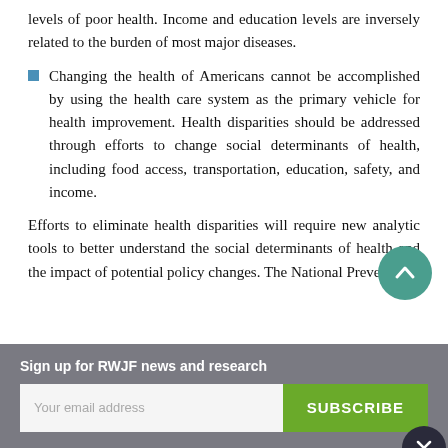levels of poor health. Income and education levels are inversely related to the burden of most major diseases.
Changing the health of Americans cannot be accomplished by using the health care system as the primary vehicle for health improvement. Health disparities should be addressed through efforts to change social determinants of health, including food access, transportation, education, safety, and income.
Efforts to eliminate health disparities will require new analytic tools to better understand the social determinants of health and the impact of potential policy changes. The National Prevention...
Sign up for RWJF news and research
Your email address
SUBSCRIBE
We'd welcome your feedback!
Can we send you a brief survey so we can improve your experience on this website?